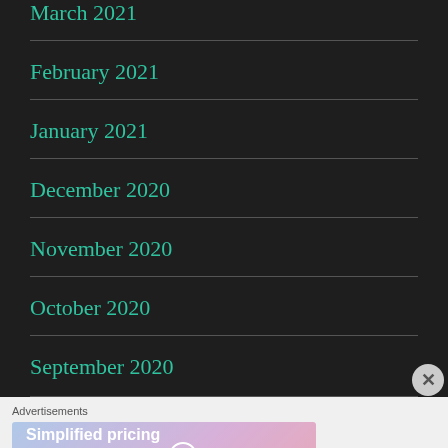March 2021
February 2021
January 2021
December 2020
November 2020
October 2020
September 2020
[Figure (screenshot): WordPress.com advertisement banner: 'Simplified pricing for everything you need.' with WordPress.com logo on gradient background (blue to pink).]